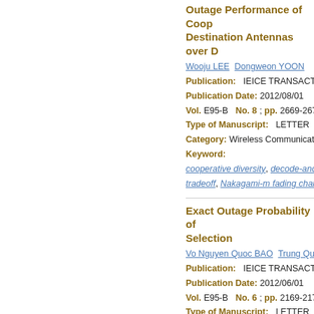Outage Performance of Cooperative ... Destination Antennas over D...
Wooju LEE  Dongweon YOON
Publication:  IEICE TRANSACTION...
Publication Date: 2012/08/01
Vol. E95-B  No. 8 ; pp. 2669-2673
Type of Manuscript:  LETTER
Category: Wireless Communication T...
Keyword:
cooperative diversity, decode-and-forw..., tradeoff, Nakagami-m fading channels,
Exact Outage Probability of ... Selection
Vo Nguyen Quoc BAO  Trung Quang D...
Publication:  IEICE TRANSACTION...
Publication Date: 2012/06/01
Vol. E95-B  No. 6 ; pp. 2169-2173
Type of Manuscript:  LETTER
Category: Wireless Communication T...
Keyword:
decode-and-forward, relay networks, u...